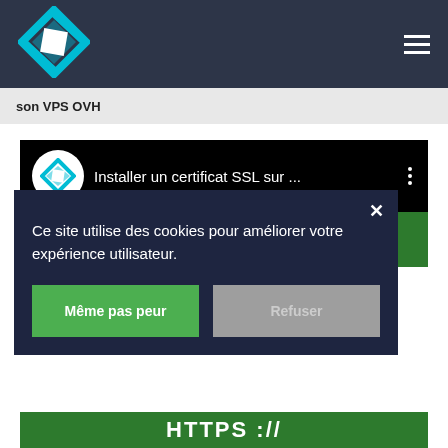[Figure (logo): Blue diamond-shaped logo with white arrow shape inside, on dark navy background]
son VPS OVH
[Figure (screenshot): YouTube video card with logo and title 'Installer un certificat SSL sur ...' on black background with green thumbnail below]
[Figure (screenshot): Cookie consent modal overlay on dark navy background with text 'Ce site utilise des cookies pour améliorer votre expérience utilisateur.' and two buttons: 'Même pas peur' (green) and 'Refuser' (grey)]
HTTPS ://